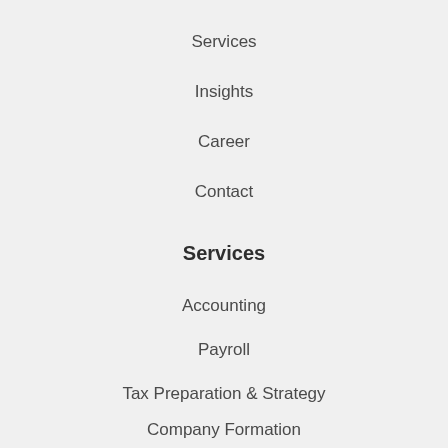Services
Insights
Career
Contact
Services
Accounting
Payroll
Tax Preparation & Strategy
Company Formation
Business Analysis & Consulting